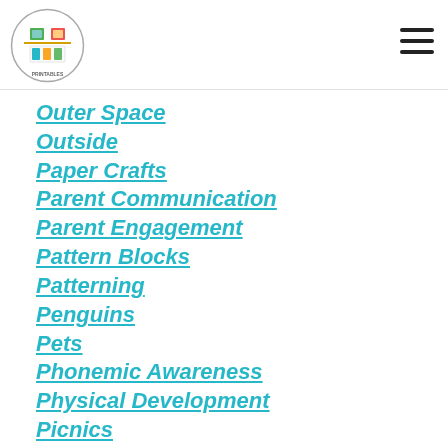Outer Space
Outside
Paper Crafts
Parent Communication
Parent Engagement
Pattern Blocks
Patterning
Penguins
Pets
Phonemic Awareness
Physical Development
Picnics
Pie Stand
Pirates & Tropical Island
Play Dough
Police
Pond